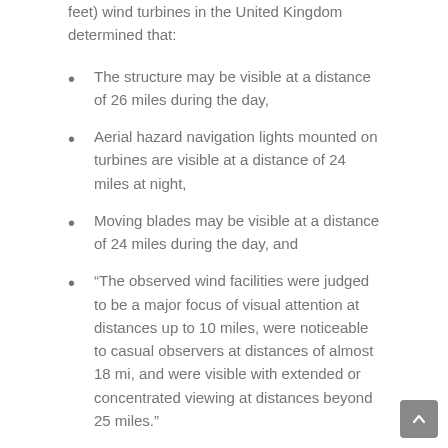feet) wind turbines in the United Kingdom determined that:
The structure may be visible at a distance of 26 miles during the day,
Aerial hazard navigation lights mounted on turbines are visible at a distance of 24 miles at night,
Moving blades may be visible at a distance of 24 miles during the day, and
“The observed wind facilities were judged to be a major focus of visual attention at distances up to 10 miles, were noticeable to casual observers at distances of almost 18 mi, and were visible with extended or concentrated viewing at distances beyond 25 miles.”